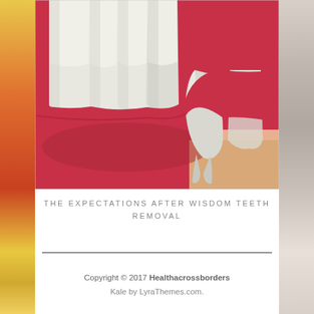[Figure (illustration): Medical dental illustration showing a cross-section view of teeth and gums, with upper teeth visible (incisors and molars) and a wisdom tooth partially erupted/impacted beneath the gum line on the right side. The gum tissue is shown in red/pink and the teeth are white.]
THE EXPECTATIONS AFTER WISDOM TEETH REMOVAL
Copyright © 2017 Healthacrossborders
Kale by LyraThemes.com.